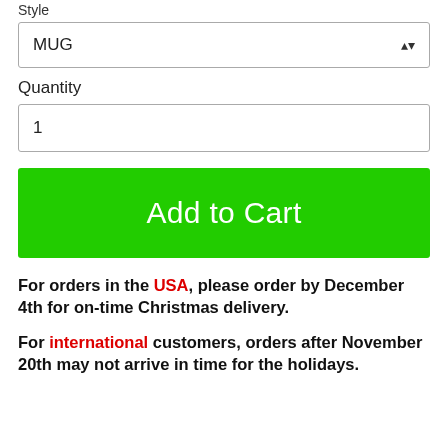Style
MUG
Quantity
1
Add to Cart
For orders in the USA, please order by December 4th for on-time Christmas delivery.
For international customers, orders after November 20th may not arrive in time for the holidays.